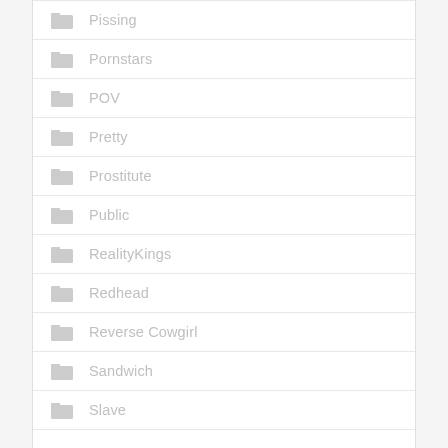Pissing
Pornstars
POV
Pretty
Prostitute
Public
RealityKings
Redhead
Reverse Cowgirl
Sandwich
Slave